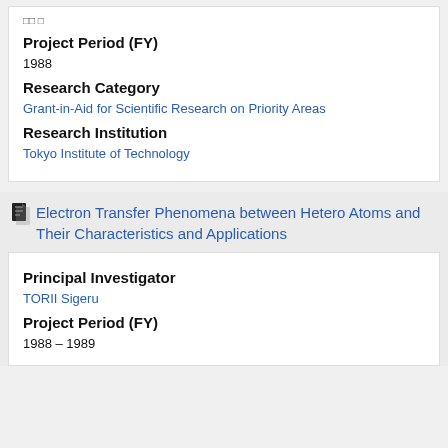□□ □
Project Period (FY)
1988
Research Category
Grant-in-Aid for Scientific Research on Priority Areas
Research Institution
Tokyo Institute of Technology
Electron Transfer Phenomena between Hetero Atoms and Their Characteristics and Applications
Principal Investigator
TORII Sigeru
Project Period (FY)
1988 – 1989